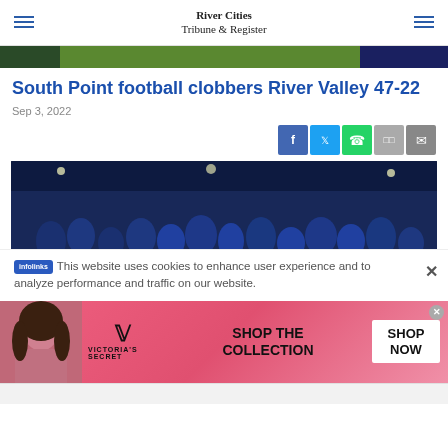River Cities Tribune & Register
[Figure (photo): Partial top photo strip showing outdoor scene]
South Point football clobbers River Valley 47-22
Sep 3, 2022
[Figure (infographic): Social share buttons: Facebook, Twitter, WhatsApp, SMS, Email]
[Figure (photo): Football team celebrating on field at night in blue uniforms]
This website uses cookies to enhance user experience and to analyze performance and traffic on our website.
[Figure (infographic): Victoria's Secret advertisement banner: SHOP THE COLLECTION / SHOP NOW]